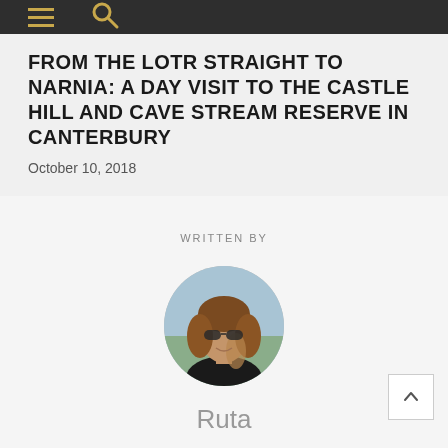Navigation bar with hamburger menu and search icon
FROM THE LOTR STRAIGHT TO NARNIA: A DAY VISIT TO THE CASTLE HILL AND CAVE STREAM RESERVE IN CANTERBURY
October 10, 2018
WRITTEN BY
[Figure (photo): Circular avatar photo of author Ruta, a woman with shoulder-length brown hair wearing sunglasses and a black top, outdoors with a blurred landscape background]
Ruta